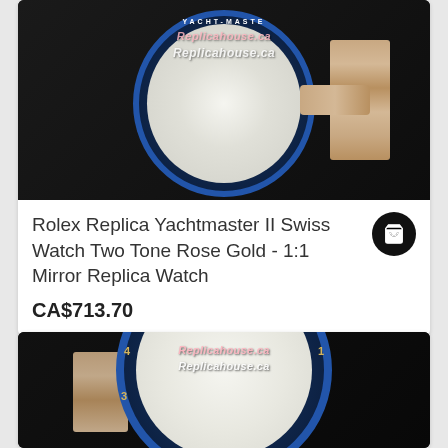[Figure (photo): Close-up photo of a Rolex Yachtmaster II replica watch with blue bezel and two-tone rose gold bracelet, on dark background, with watermark text 'Replicahouse.ca' overlaid twice]
Rolex Replica Yachtmaster II Swiss Watch Two Tone Rose Gold - 1:1 Mirror Replica Watch
CA$713.70
[Figure (photo): Close-up photo of a second Rolex Yachtmaster II replica watch with blue bezel showing dial numerals, two-tone gold bracelet, on dark background, with watermark text 'Replicahouse.ca' overlaid twice]